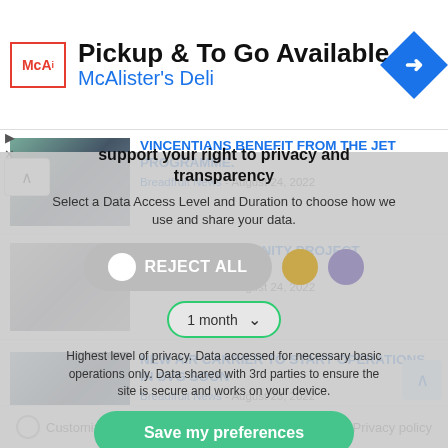[Figure (screenshot): McAlister's Deli ad banner with logo, title 'Pickup & To Go Available', subtitle 'McAlister's Deli', and navigation arrow icon]
support your right to privacy and transparency
VINCENTIANS BENEFIT FROM THE JET PROGRAMME.
Select a Data Access Level and Duration to choose how we use and share your data.
Breadfruit News - August 24, 2022
REJECT ALL
MISS SVG COMMUNITY PROJECT LAUNCHED
1 month
Breadfruit News - August 24, 2022
Highest level of privacy. Data accessed for necessary basic operations only. Data shared with 3rd parties to ensure the site is secure and works on your device.
NEW AIR CARRIER TO START OPERATIONS IN SVG SOON
Breadfruit News - August 23, 2022
Save my preferences
Customize
Privacy policy